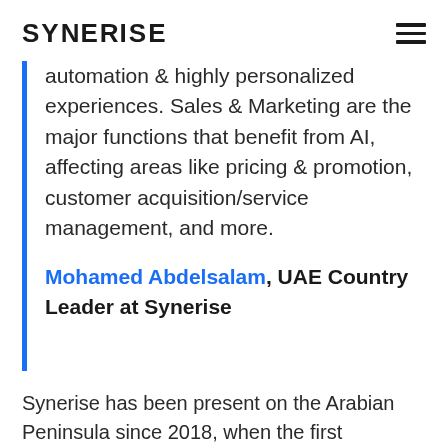SYNERISE
automation & highly personalized experiences. Sales & Marketing are the major functions that benefit from AI, affecting areas like pricing & promotion, customer acquisition/service management, and more.
Mohamed Abdelsalam, UAE Country Leader at Synerise
Synerise has been present on the Arabian Peninsula since 2018, when the first business contacts with